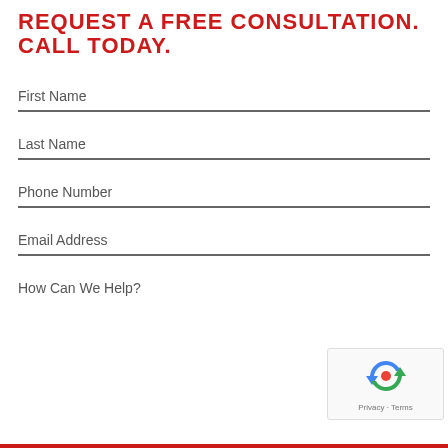REQUEST A FREE CONSULTATION. CALL TODAY.
First Name
Last Name
Phone Number
Email Address
How Can We Help?